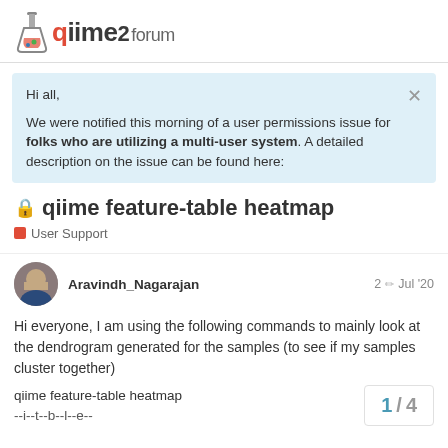qiime2 forum
Hi all,

We were notified this morning of a user permissions issue for folks who are utilizing a multi-user system. A detailed description on the issue can be found here:
qiime feature-table heatmap
User Support
Aravindh_Nagarajan  2  Jul '20
Hi everyone, I am using the following commands to mainly look at the dendrogram generated for the samples (to see if my samples cluster together)
qiime feature-table heatmap
1 / 4